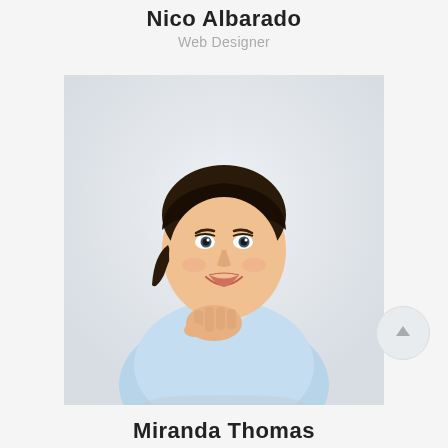Nico Albarado
Web Designer
[Figure (photo): Professional photo of a smiling young woman with dark hair pulled back, wearing a light blue button-up shirt, resting her chin on her hand against a light grey background.]
Miranda Thomas